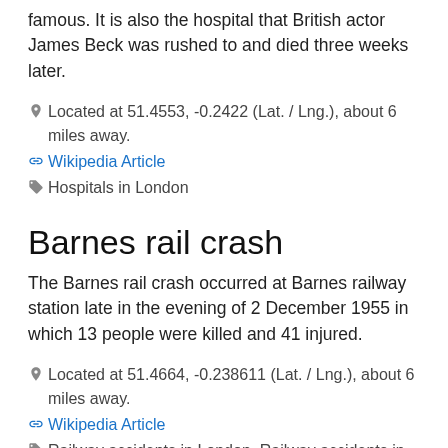famous. It is also the hospital that British actor James Beck was rushed to and died three weeks later.
Located at 51.4553, -0.2422 (Lat. / Lng.), about 6 miles away.
Wikipedia Article
Hospitals in London
Barnes rail crash
The Barnes rail crash occurred at Barnes railway station late in the evening of 2 December 1955 in which 13 people were killed and 41 injured.
Located at 51.4664, -0.238611 (Lat. / Lng.), about 6 miles away.
Wikipedia Article
Railway accidents in London, Railway accidents in 1955, Transport in Richmond upon Thames, 1955 in England, 1955 in London, Train and subway fires, 1955 fires, Fires in London
Digby Stuart College